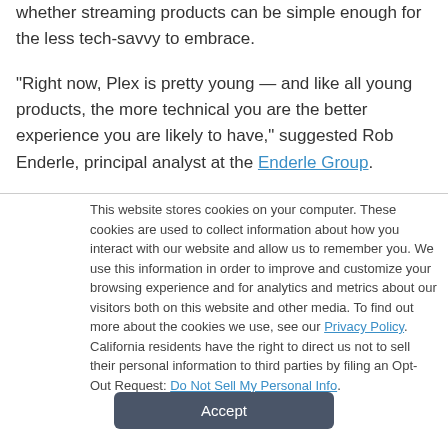whether streaming products can be simple enough for the less tech-savvy to embrace.
“Right now, Plex is pretty young — and like all young products, the more technical you are the better experience you are likely to have,” suggested Rob Enderle, principal analyst at the Enderle Group.
This website stores cookies on your computer. These cookies are used to collect information about how you interact with our website and allow us to remember you. We use this information in order to improve and customize your browsing experience and for analytics and metrics about our visitors both on this website and other media. To find out more about the cookies we use, see our Privacy Policy. California residents have the right to direct us not to sell their personal information to third parties by filing an Opt-Out Request: Do Not Sell My Personal Info.
Accept